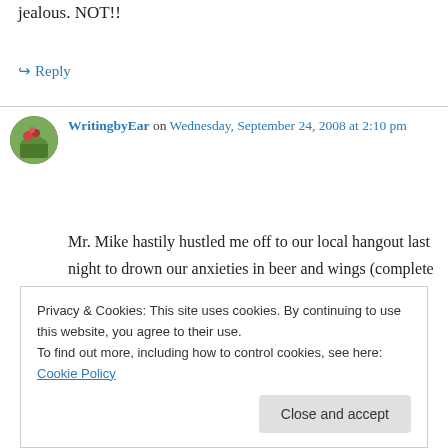jealous. NOT!!
↪ Reply
WritingbyEar on Wednesday, September 24, 2008 at 2:10 pm
Mr. Mike hastily hustled me off to our local hangout last night to drown our anxieties in beer and wings (complete with DQ after) — all the more lovely because now it's SMOKE FREE! We
Privacy & Cookies: This site uses cookies. By continuing to use this website, you agree to their use.
To find out more, including how to control cookies, see here: Cookie Policy